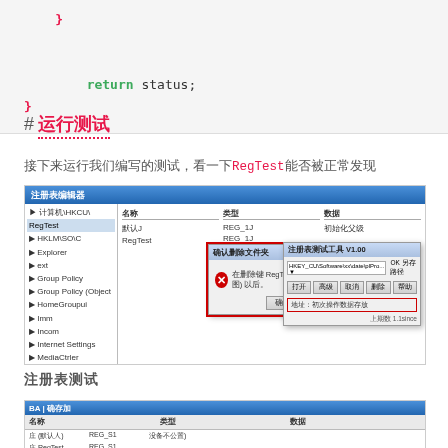# 运行测试
接下来运行我们编写的测试，看一下RegTest能否被正常发现
[Figure (screenshot): Windows file explorer showing RegTest entry with error dialog overlaid, and a registry tool dialog on the right]
注册表测试
[Figure (screenshot): Windows dialog showing file listing with columns 名称, 类型, 数据]